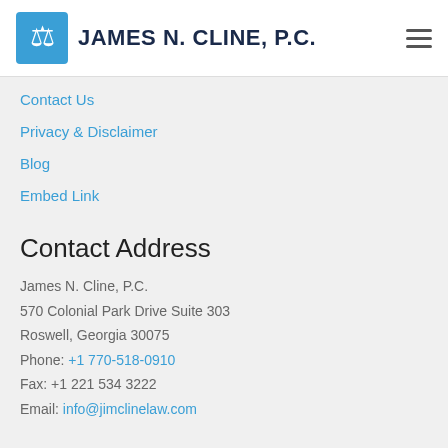JAMES N. CLINE, P.C.
Contact Us
Privacy & Disclaimer
Blog
Embed Link
Contact Address
James N. Cline, P.C.
570 Colonial Park Drive Suite 303
Roswell, Georgia 30075
Phone: +1 770-518-0910
Fax: +1 221 534 3222
Email: info@jimclinelaw.com